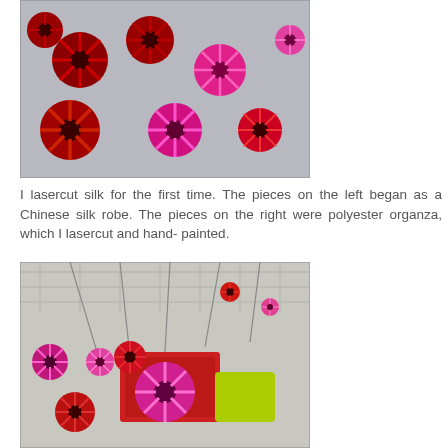[Figure (photo): Top-down photo of red and pink lasercut silk flowers spread on a reflective surface. The flowers on the left are deep red, and those on the right are bright pink/fuchsia.]
I lasercut silk for the first time. The pieces on the left began as a Chinese silk robe. The pieces on the right were polyester organza, which I lasercut and hand- painted.
[Figure (photo): Photo of red and pink lasercut fabric flowers hanging from wires on a grid structure, with a bright red box visible and a yellow-green container in the background.]